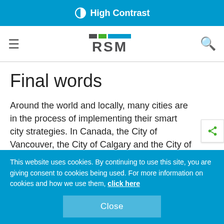High Contrast
[Figure (logo): RSM logo with colored bars (dark, green, blue) above the text RSM, with hamburger menu icon on left and search icon on right]
Final words
Around the world and locally, many cities are in the process of implementing their smart city strategies. In Canada, the City of Vancouver, the City of Calgary and the City of Toronto have all taken steps forward. Internationally, both London and Singapore are adop similar initiatives. These projects are large in scope and
This website uses cookies. By continuing to use this site, you are giving consent to cookies being used. For more information on cookies and how we use them, click here
Close